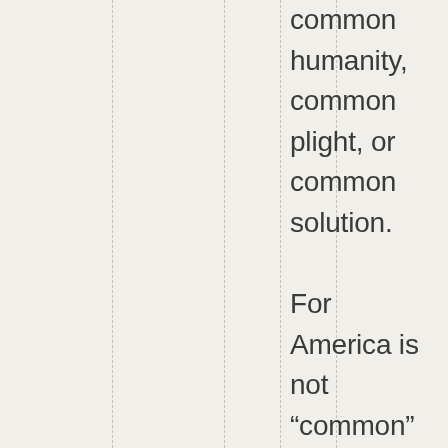common humanity, common plight, or common solution.

For America is not “common” it is exceptional

It does not matter what the